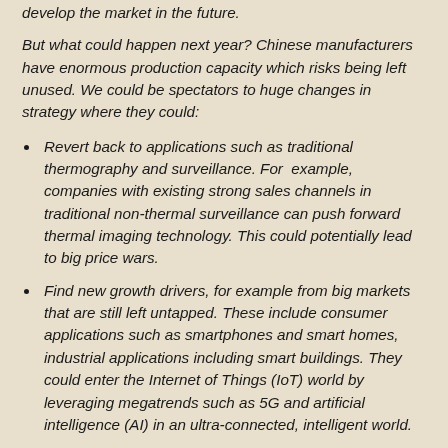develop the market in the future.
But what could happen next year? Chinese manufacturers have enormous production capacity which risks being left unused. We could be spectators to huge changes in strategy where they could:
Revert back to applications such as traditional thermography and surveillance. For example, companies with existing strong sales channels in traditional non-thermal surveillance can push forward thermal imaging technology. This could potentially lead to big price wars.
Find new growth drivers, for example from big markets that are still left untapped. These include consumer applications such as smartphones and smart homes, industrial applications including smart buildings. They could enter the Internet of Things (IoT) world by leveraging megatrends such as 5G and artificial intelligence (AI) in an ultra-connected, intelligent world.